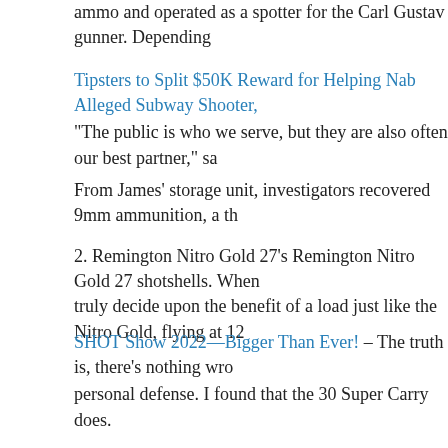ammo and operated as a spotter for the Carl Gustav gunner. Depending
Tipsters to Split $50K Reward for Helping Nab Alleged Subway Shooter,
"The public is who we serve, but they are also often our best partner," sa
From James' storage unit, investigators recovered 9mm ammunition, a th
2. Remington Nitro Gold 27's Remington Nitro Gold 27 shotshells. When truly decide upon the benefit of a load just like the Nitro Gold, flying at 12
SHOT Show 2022—Bigger Than Ever! – The truth is, there's nothing wro personal defense. I found that the 30 Super Carry does.
are new guns, new ammunition and new products. The best part about it.
Speer Gold Dots are one of the classic concealed carry rounds from a ti After more than 20 years of production, it still stands up to.
Remington's 1911 R1 is a beautiful piece with a black body and a gleam slide. With a match-grade stainless barrel, serrated slide, premium grip p this one's got the works. Cabela's stocks the R1 starting at $649.99 while has the R1 .45 with Cocobolo grips for $725.00.
Best 9mm Ammo · 1. Gold Dot 9mm 115 gr · 2. Magtech Guardian Gold 9